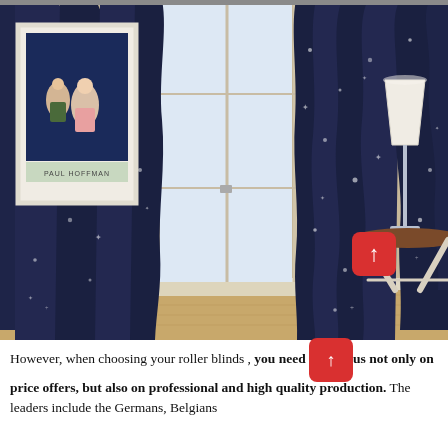[Figure (photo): A room scene showing two navy blue curtain panels with silver star pattern hanging on either side of a multi-pane window. A framed art print is visible on the left wall. A table lamp and round side table are visible on the right. The room has beige/tan walls and hardwood flooring.]
However, when choosing your roller blinds , you need focus not only on price offers, but also on professional and high quality production. The leaders include the Germans, Belgians